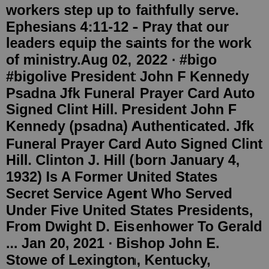workers step up to faithfully serve. Ephesians 4:11-12 - Pray that our leaders equip the saints for the work of ministry.Aug 02, 2022 · #bigo #bigolive President John F Kennedy Psadna Jfk Funeral Prayer Card Auto Signed Clint Hill. President John F Kennedy (psadna) Authenticated. Jfk Funeral Prayer Card Auto Signed Clint Hill. Clinton J. Hill (born January 4, 1932) Is A Former United States Secret Service Agent Who Served Under Five United States Presidents, From Dwight D. Eisenhower To Gerald ... Jan 20, 2021 · Bishop John E. Stowe of Lexington, Kentucky, bishop-president of Pax Christi USA, said he was offering a prayer of thanksgiving and breathing "a deep sigh of relief" that the transition from one ... We believe our Prayers will help President Trump and the White Hats defeat this evil once and for all, and, restore our Republic the way our founding fathers envisioned the United States of America. Godspeed President Trump! Please join us in our Prayer Calls Sundays & Thursdays at 6:00pm PST/7:00pm Mountain/8:00pm CST/9:00pm EST. We